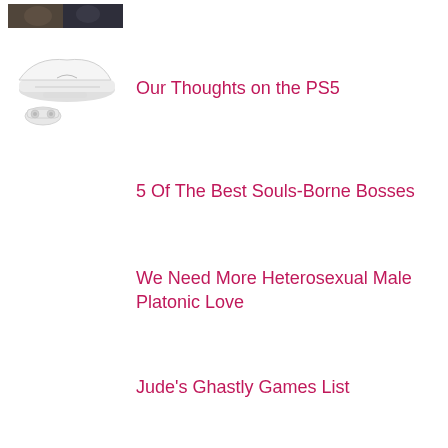[Figure (photo): Small thumbnail image of people, dark background, appears to be a gaming/entertainment scene]
[Figure (illustration): PS5 console with controller illustration in white/grey]
Our Thoughts on the PS5
5 Of The Best Souls-Borne Bosses
We Need More Heterosexual Male Platonic Love
Jude's Ghastly Games List
Ubisoft Are Scum!